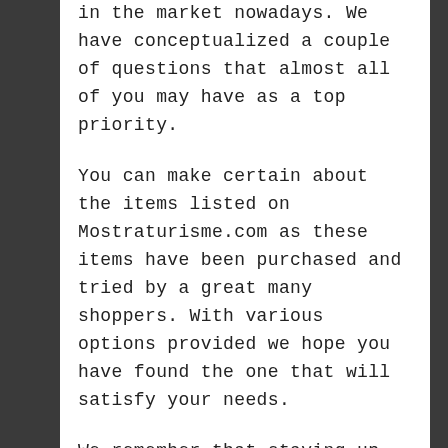in the market nowadays. We have conceptualized a couple of questions that almost all of you may have as a top priority.
You can make certain about the items listed on Mostraturisme.com as these items have been purchased and tried by a great many shoppers. With various options provided we hope you have found the one that will satisfy your needs.
We remember that staying up with the latest is our need; in this way, we keep our site refreshed consistently. Get more info about us through online sources. In case that you feel that the data showed here is deluding or is inaccurate or is